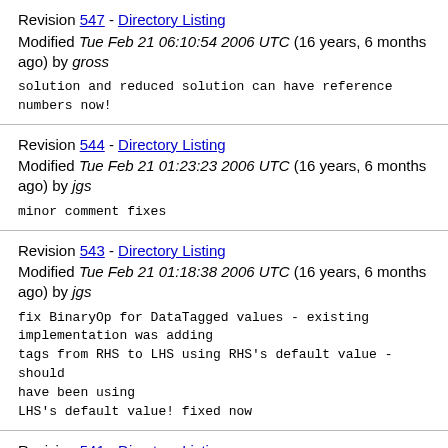Revision 547 - Directory Listing
Modified Tue Feb 21 06:10:54 2006 UTC (16 years, 6 months ago) by gross
solution and reduced solution can have reference numbers now!
Revision 544 - Directory Listing
Modified Tue Feb 21 01:23:23 2006 UTC (16 years, 6 months ago) by jgs
minor comment fixes
Revision 543 - Directory Listing
Modified Tue Feb 21 01:18:38 2006 UTC (16 years, 6 months ago) by jgs
fix BinaryOp for DataTagged values - existing implementation was adding
tags from RHS to LHS using RHS's default value - should have been using
LHS's default value! fixed now
Revision 541 - Directory Listing